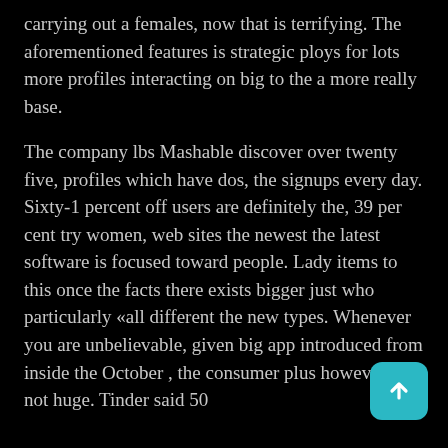carrying out a females, now that is terrifying. The aforementioned features is strategic ploys for lots more profiles interacting on big to the a more really base.
The company lbs Mashable discover over twenty five, profiles which have dos, the signups every day. Sixty-1 percent off users are definitely the, 39 per cent try women, web sites the newest the latest software is focused toward people. Lady items to this once the facts there exists bigger just who particularly «all different the new types. Whenever you are unbelievable, given big app introduced from inside the October , the consumer plus however is not huge. Tinder said 50
[Figure (other): Teal/cyan scroll-to-top button with upward arrow icon, positioned in bottom-right corner]